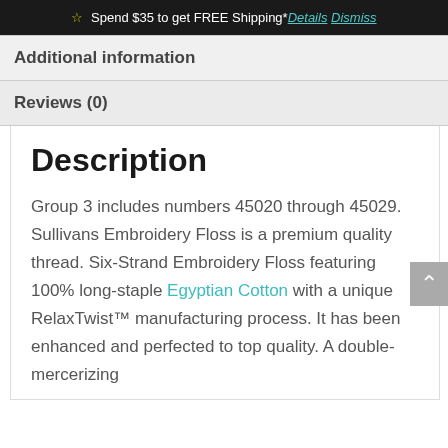☆ Spend $35 to get FREE Shipping* Details Dismiss
Additional information
Reviews (0)
Description
Group 3 includes numbers 45020 through 45029. Sullivans Embroidery Floss is a premium quality thread. Six-Strand Embroidery Floss featuring 100% long-staple Egyptian Cotton with a unique RelaxTwist™ manufacturing process. It has been enhanced and perfected to top quality. A double-mercerizing